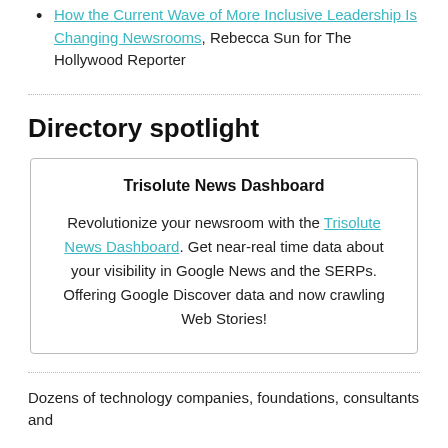How the Current Wave of More Inclusive Leadership Is Changing Newsrooms, Rebecca Sun for The Hollywood Reporter
Directory spotlight
Trisolute News Dashboard

Revolutionize your newsroom with the Trisolute News Dashboard. Get near-real time data about your visibility in Google News and the SERPs. Offering Google Discover data and now crawling Web Stories!
Dozens of technology companies, foundations, consultants and